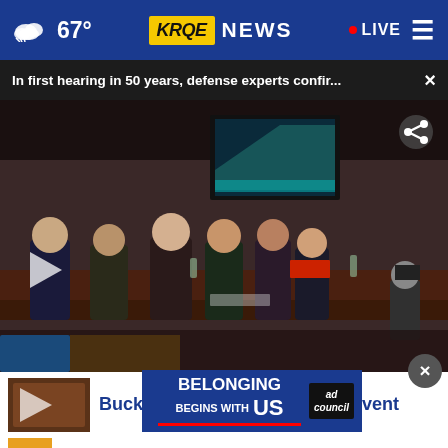67° KRQE NEWS · LIVE
In first hearing in 50 years, defense experts confir... ×
[Figure (screenshot): Video thumbnail of a congressional hearing room with people seated at tables, a photographer kneeling, and a screen displaying an image in the background. A play button triangle is visible at lower left.]
Buckaroos, Bites, and Brews event
[Figure (infographic): Ad banner for 'Belonging Begins With US' by Ad Council, dark blue background with white text and red underline]
Most extreme happenings in th...